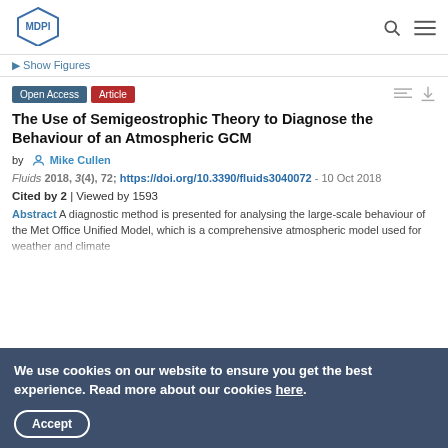[Figure (logo): MDPI logo - hexagonal shape with MDPI text]
► Show Figures
Open Access  Article
The Use of Semigeostrophic Theory to Diagnose the Behaviour of an Atmospheric GCM
by  Mike Cullen
Fluids 2018, 3(4), 72; https://doi.org/10.3390/fluids3040072 - 10 Oct 2018
Cited by 2 | Viewed by 1593
Abstract A diagnostic method is presented for analysing the large-scale behaviour of the Met Office Unified Model, which is a comprehensive atmospheric model used for weather and climate
We use cookies on our website to ensure you get the best experience. Read more about our cookies here.
Accept